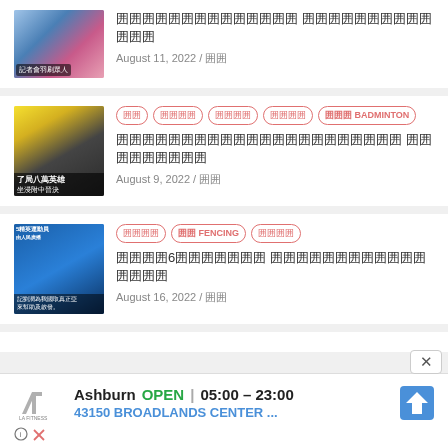[Figure (photo): Sports team photo thumbnail with text overlay]
囲囲囲囲囲囲囲囲囲囲囲囲囲囲 囲囲囲囲囲囲囲囲囲囲囲囲囲
August 11, 2022 / 囲囲
Tags: 囲囲, 囲囲囲囲, 囲囲囲囲, 囲囲囲囲, 囲囲囲 BADMINTON
[Figure (photo): Badminton player thumbnail]
囲囲囲囲囲囲囲囲囲囲囲囲囲囲囲囲囲囲囲囲囲囲 囲囲囲囲囲囲囲囲囲
August 9, 2022 / 囲囲
Tags: 囲囲囲囲, 囲囲 FENCING, 囲囲囲囲
[Figure (photo): Fencing team photo thumbnail]
囲囲囲囲6囲囲囲囲囲囲囲 囲囲囲囲囲囲囲囲囲囲囲囲囲囲囲囲
August 16, 2022 / 囲囲
[Figure (screenshot): LA Fitness advertisement: Ashburn OPEN 05:00-23:00, 43150 BROADLANDS CENTER...]